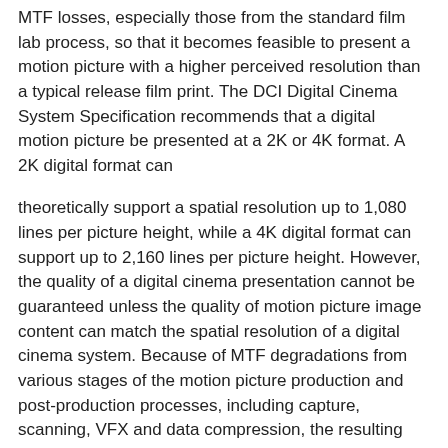MTF losses, especially those from the standard film lab process, so that it becomes feasible to present a motion picture with a higher perceived resolution than a typical release film print. The DCI Digital Cinema System Specification recommends that a digital motion picture be presented at a 2K or 4K format. A 2K digital format can
theoretically support a spatial resolution up to 1,080 lines per picture height, while a 4K digital format can support up to 2,160 lines per picture height. However, the quality of a digital cinema presentation cannot be guaranteed unless the quality of motion picture image content can match the spatial resolution of a digital cinema system. Because of MTF degradations from various stages of the motion picture production and post-production processes, including capture, scanning, VFX and data compression, the resulting motion picture images may have a much lower spatial